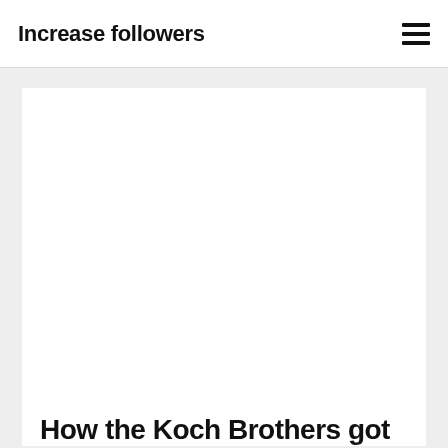Increase followers
[Figure (other): White blank image/photo placeholder area inside article card]
How the Koch Brothers got